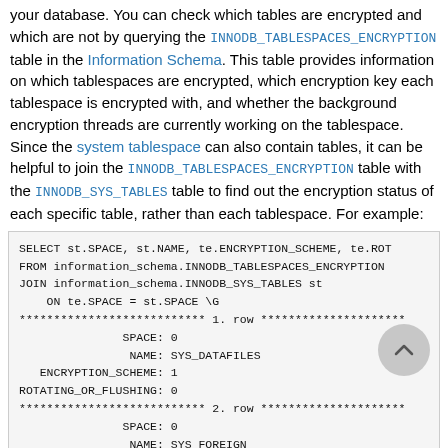your database. You can check which tables are encrypted and which are not by querying the INNODB_TABLESPACES_ENCRYPTION table in the Information Schema. This table provides information on which tablespaces are encrypted, which encryption key each tablespace is encrypted with, and whether the background encryption threads are currently working on the tablespace. Since the system tablespace can also contain tables, it can be helpful to join the INNODB_TABLESPACES_ENCRYPTION table with the INNODB_SYS_TABLES table to find out the encryption status of each specific table, rather than each tablespace. For example:
SELECT st.SPACE, st.NAME, te.ENCRYPTION_SCHEME, te.RO
FROM information_schema.INNODB_TABLESPACES_ENCRYPTION
JOIN information_schema.INNODB_SYS_TABLES st
    ON te.SPACE = st.SPACE \G
*************************** 1. row *********************
               SPACE: 0
                NAME: SYS_DATAFILES
   ENCRYPTION_SCHEME: 1
ROTATING_OR_FLUSHING: 0
*************************** 2. row *********************
               SPACE: 0
                NAME: SYS_FOREIGN